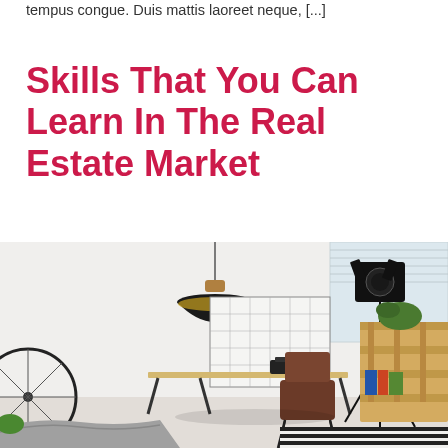tempus congue. Duis mattis laoreet neque, [...]
Skills That You Can Learn In The Real Estate Market
[Figure (photo): Bright modern interior room with a desk and chair, pendant lamp, film-style studio light on tripod, bicycle wheel on left, wooden pallet shelf with plants on right, white walls and large window, striped rug on floor.]